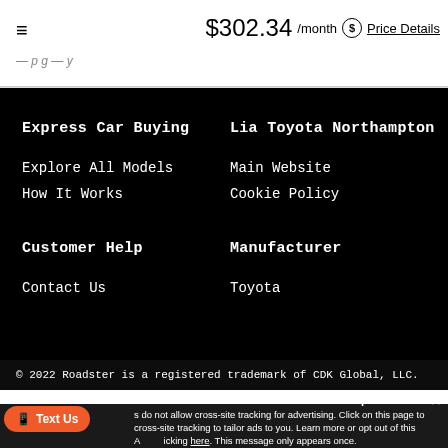$302.34 /month  Price Details
Express Car Buying
Explore All Models
How It Works
Customer Help
Contact Us
Lia Toyota Northampton
Main Website
Cookie Policy
Manufacturer
Toyota
© 2022 Roadster is a registered trademark of CDK Global, LLC.
Accept and Close ×  Your privacy settings do not allow cross-site tracking for advertising. Click on this page to allow cross-site tracking to tailor ads to you. Learn more or opt out of this Advertising by clicking here. This message only appears once.